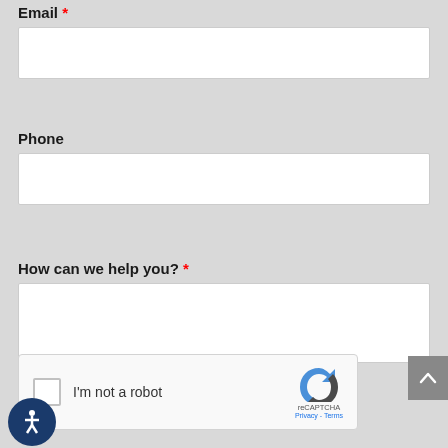Email *
Phone
How can we help you? *
[Figure (screenshot): reCAPTCHA widget with checkbox labeled 'I'm not a robot', reCAPTCHA logo, Privacy and Terms links]
[Figure (other): Scroll to top button with upward chevron arrow on gray background]
[Figure (other): Accessibility icon button - dark blue circle with white person figure]